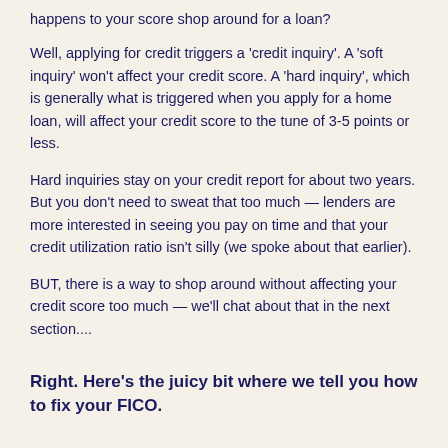happens to your score shop around for a loan?
Well, applying for credit triggers a 'credit inquiry'. A 'soft inquiry' won't affect your credit score. A 'hard inquiry', which is generally what is triggered when you apply for a home loan, will affect your credit score to the tune of 3-5 points or less.
Hard inquiries stay on your credit report for about two years. But you don't need to sweat that too much — lenders are more interested in seeing you pay on time and that your credit utilization ratio isn't silly (we spoke about that earlier).
BUT, there is a way to shop around without affecting your credit score too much — we'll chat about that in the next section....
Right. Here's the juicy bit where we tell you how to fix your FICO.